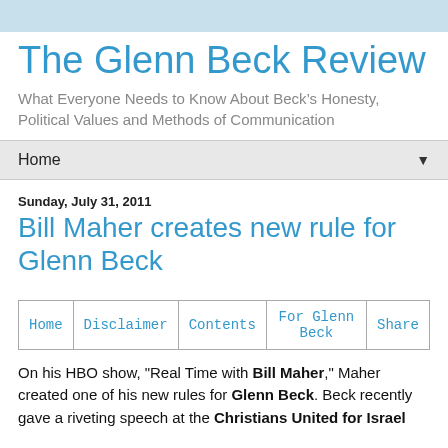The Glenn Beck Review
What Everyone Needs to Know About Beck’s Honesty, Political Values and Methods of Communication
Home ▼
Sunday, July 31, 2011
Bill Maher creates new rule for Glenn Beck
| Home | Disclaimer | Contents | For Glenn Beck | Share |
| --- | --- | --- | --- | --- |
On his HBO show, "Real Time with Bill Maher," Maher created one of his new rules for Glenn Beck. Beck recently gave a riveting speech at the Christians United for Israel